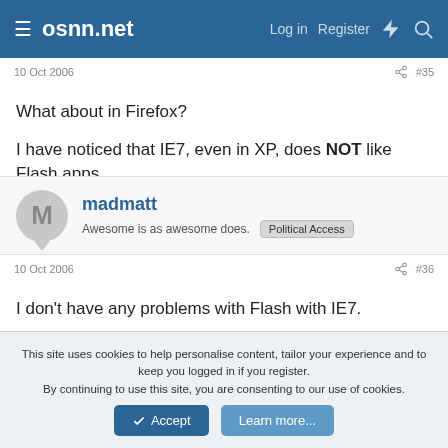osnn.net | Log in  Register
10 Oct 2006   #35
What about in Firefox?

I have noticed that IE7, even in XP, does NOT like Flash apps.
madmatt
Awesome is as awesome does.  Political Access
10 Oct 2006   #36
I don't have any problems with Flash with IE7.

Uninstall the ActiveX control and then reinstall from the Adobe site.
This site uses cookies to help personalise content, tailor your experience and to keep you logged in if you register.
By continuing to use this site, you are consenting to our use of cookies.